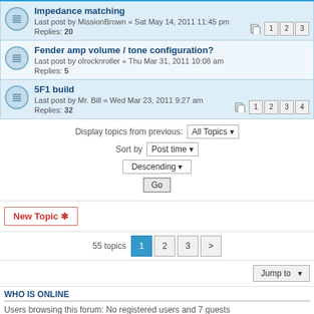Impedance matching — Last post by MissionBrown « Sat May 14, 2011 11:45 pm — Replies: 20
Fender amp volume / tone configuration? — Last post by olrocknroller « Thu Mar 31, 2011 10:08 am — Replies: 5
5F1 build — Last post by Mr. Bill « Wed Mar 23, 2011 9:27 am — Replies: 32
Display topics from previous: All Topics ▾  Sort by Post time ▾  Descending ▾  Go
New Topic ✱
55 topics  1  2  3  >
Jump to
WHO IS ONLINE
Users browsing this forum: No registered users and 7 guests
FORUM PERMISSIONS
You cannot post new topics in this forum